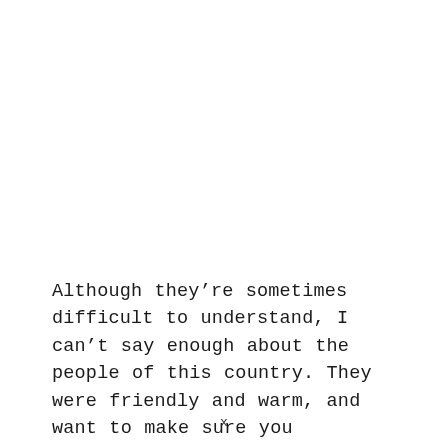Although they're sometimes difficult to understand, I can't say enough about the people of this country. They were friendly and warm, and want to make sure you
x